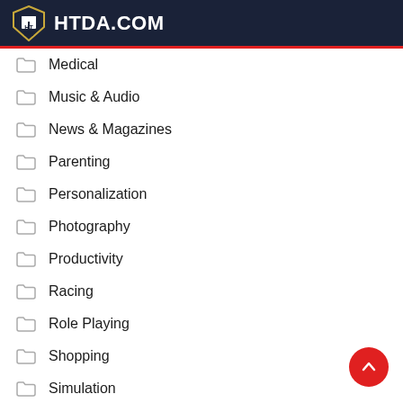HTDA.COM
Medical
Music & Audio
News & Magazines
Parenting
Personalization
Photography
Productivity
Racing
Role Playing
Shopping
Simulation